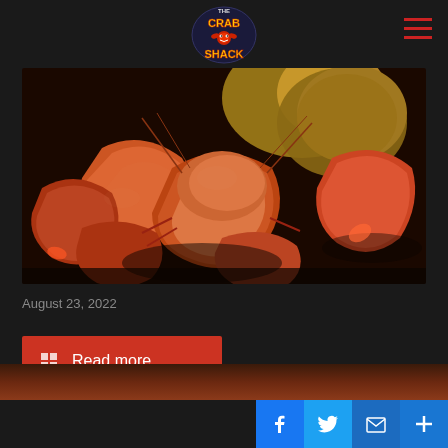The Crab Shack
[Figure (photo): Close-up photo of boiled crawfish (crayfish) and shrimp piled together, with corn and a potato visible in the background. The seafood is reddish-orange in color, glistening from the boil.]
August 23, 2022
Read more